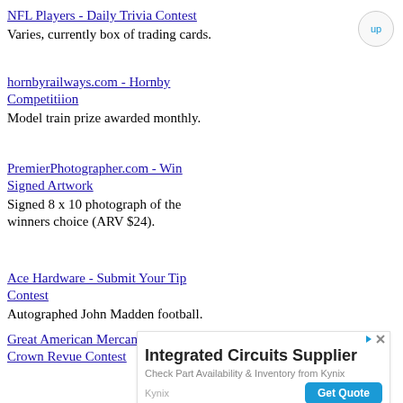NFL Players - Daily Trivia Contest
Varies, currently box of trading cards.
hornbyrailways.com - Hornby Competitiion
Model train prize awarded monthly.
PremierPhotographer.com - Win Signed Artwork
Signed 8 x 10 photograph of the winners choice (ARV $24).
Ace Hardware - Submit Your Tip Contest
Autographed John Madden football.
Great American Mercantile Co - Royal Crown Revue Contest
[Figure (screenshot): Advertisement banner for Integrated Circuits Supplier - Kynix. Shows bold title 'Integrated Circuits Supplier', subtitle 'Check Part Availability & Inventory from Kynix', Kynix brand name, and a blue 'Get Quote' button.]